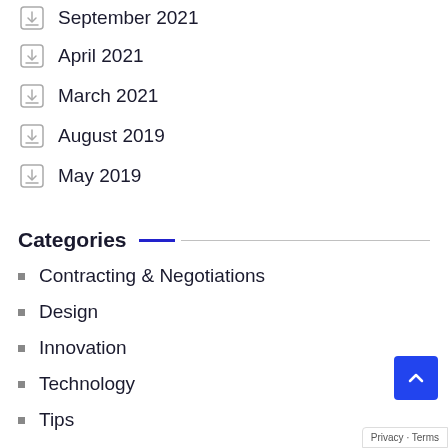September 2021
April 2021
March 2021
August 2019
May 2019
Categories
Contracting & Negotiations
Design
Innovation
Technology
Tips